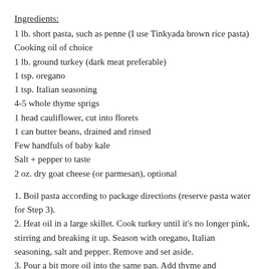Ingredients:
1 lb. short pasta, such as penne (I use Tinkyada brown rice pasta)
Cooking oil of choice
1 lb. ground turkey (dark meat preferable)
1 tsp. oregano
1 tsp. Italian seasoning
4-5 whole thyme sprigs
1 head cauliflower, cut into florets
1 can butter beans, drained and rinsed
Few handfuls of baby kale
Salt + pepper to taste
2 oz. dry goat cheese (or parmesan), optional
1. Boil pasta according to package directions (reserve pasta water for Step 3).
2. Heat oil in a large skillet. Cook turkey until it's no longer pink, stirring and breaking it up. Season with oregano, Italian seasoning, salt and pepper. Remove and set aside.
3. Pour a bit more oil into the same pan. Add thyme and cauliflower. Cook over medium-high heat until cauliflower is nicely browned. Add a